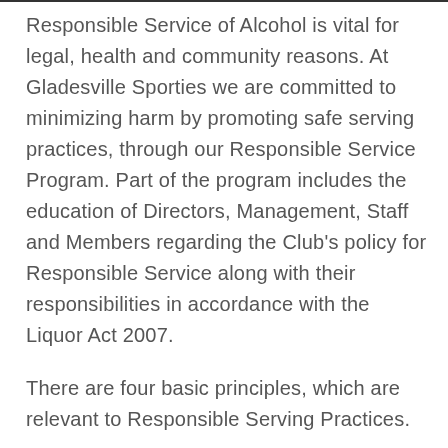Responsible Service of Alcohol is vital for legal, health and community reasons. At Gladesville Sporties we are committed to minimizing harm by promoting safe serving practices, through our Responsible Service Program. Part of the program includes the education of Directors, Management, Staff and Members regarding the Club's policy for Responsible Service along with their responsibilities in accordance with the Liquor Act 2007.
There are four basic principles, which are relevant to Responsible Serving Practices.